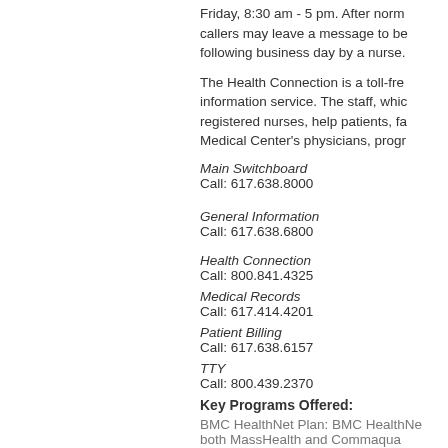Friday, 8:30 am - 5 pm. After normal hours, callers may leave a message to be returned the following business day by a nurse.
The Health Connection is a toll-free health information service. The staff, which includes registered nurses, help patients, fa... Medical Center's physicians, progr...
Main Switchboard
Call: 617.638.8000
General Information
Call: 617.638.6800
Health Connection
Call: 800.841.4325
Medical Records
Call: 617.414.4201
Patient Billing
Call: 617.638.6157
TTY
Call: 800.439.2370
Key Programs Offered:
BMC HealthNet Plan: BMC HealthNe... both MassHealth and Commaqua...